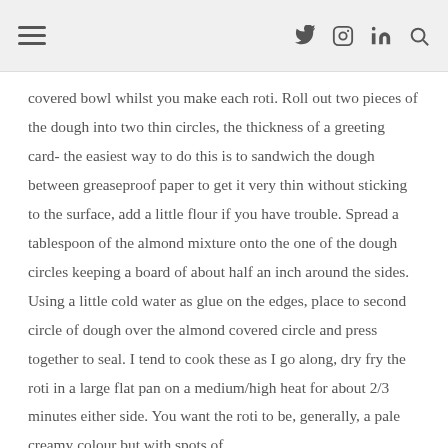Navigation header with hamburger menu and social icons
covered bowl whilst you make each roti. Roll out two pieces of the dough into two thin circles, the thickness of a greeting card- the easiest way to do this is to sandwich the dough between greaseproof paper to get it very thin without sticking to the surface, add a little flour if you have trouble. Spread a tablespoon of the almond mixture onto the one of the dough circles keeping a board of about half an inch around the sides. Using a little cold water as glue on the edges, place to second circle of dough over the almond covered circle and press together to seal. I tend to cook these as I go along, dry fry the roti in a large flat pan on a medium/high heat for about 2/3 minutes either side. You want the roti to be, generally, a pale creamy colour but with spots of